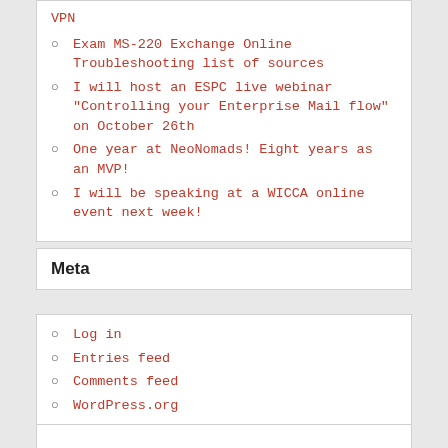VPN
Exam MS-220 Exchange Online Troubleshooting list of sources
I will host an ESPC live webinar "Controlling your Enterprise Mail flow" on October 26th
One year at NeoNomads! Eight years as an MVP!
I will be speaking at a WICCA online event next week!
Meta
Log in
Entries feed
Comments feed
WordPress.org